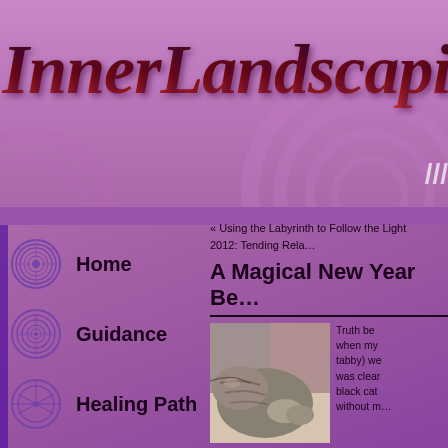InnerLandscaping
« Using the Labyrinth to Follow the Light
2012: Tending Rela…
A Magical New Year Be…
[Figure (photo): A cat (tabby) lying on a bed or cushions]
Truth be… when my… tabby) we… was clear… black cat… without m…
Home
Guidance
Healing Path